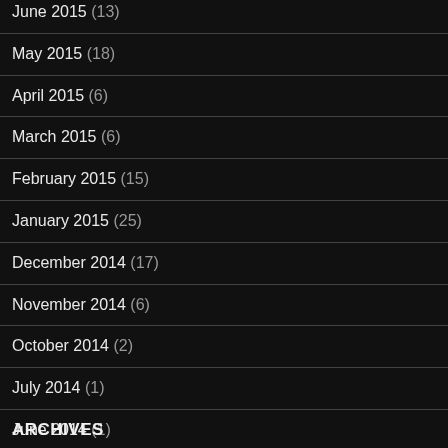June 2015 (13)
May 2015 (18)
April 2015 (6)
March 2015 (6)
February 2015 (15)
January 2015 (25)
December 2014 (17)
November 2014 (6)
October 2014 (2)
July 2014 (1)
June 2014 (1)
ARCHIVES